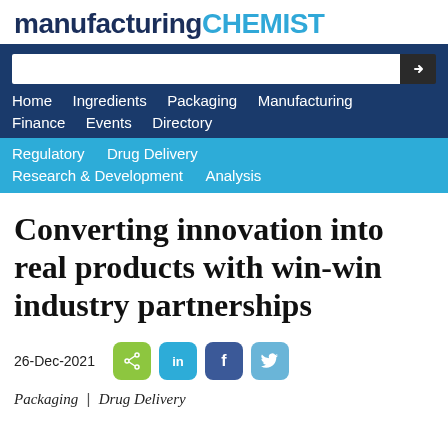manufacturing CHEMIST
[Figure (screenshot): Navigation bar with search input box and arrow button, followed by main navigation links: Home, Ingredients, Packaging, Manufacturing, Finance, Events, Directory on dark blue background; then Regulatory, Drug Delivery, Research & Development, Analysis on lighter blue background.]
Converting innovation into real products with win-win industry partnerships
26-Dec-2021
Packaging | Drug Delivery